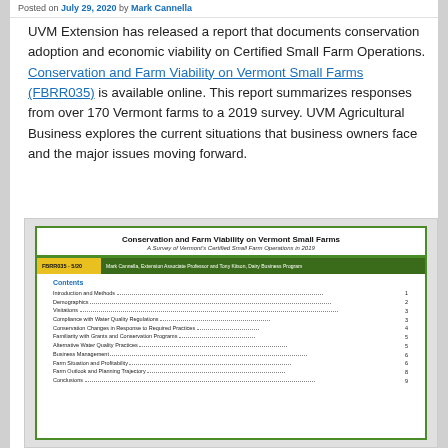Posted on July 29, 2020 by Mark Cannella
UVM Extension has released a report that documents conservation adoption and economic viability on Certified Small Farm Operations. Conservation and Farm Viability on Vermont Small Farms (FBRR035) is available online. This report summarizes responses from over 170 Vermont farms to a 2019 survey. UVM Agricultural Business explores the current situations that business owners face and the major issues moving forward.
[Figure (screenshot): Screenshot of the cover page of the report 'Conservation and Farm Viability on Vermont Small Farms: A Survey of Vermont's Certified Small Farm Operations in 2019' (FBRR035 - 5/20) by Mark Cannella, Extension Associate Professor and Tony Kitson, Dairy Business Program. Shows table of contents including: Introduction and Methods...1, Demographics...2, Visitations...3, Compliance with Water Quality Regulations...3, Conservation Changes in Response to Required Practices...4, Familiarity with Grants and Conservation Programs...5, Alternative Water Quality Practices...5, Business Management...6, Farm Situation and Profitability...6, Farm Outlook and Planning Trajectory...8, Conclusions...9]